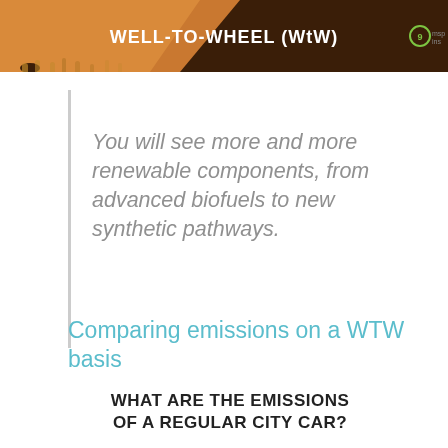[Figure (illustration): Header banner with dark brown background, orange diagonal shape on the left, bold white text 'WELL-TO-WHEEL (WtW)' in the center, and a small green logo on the right. Icicle-like drips hang from the bottom edge of the banner.]
You will see more and more renewable components, from advanced biofuels to new synthetic pathways.
Comparing emissions on a WTW basis
WHAT ARE THE EMISSIONS OF A REGULAR CITY CAR?